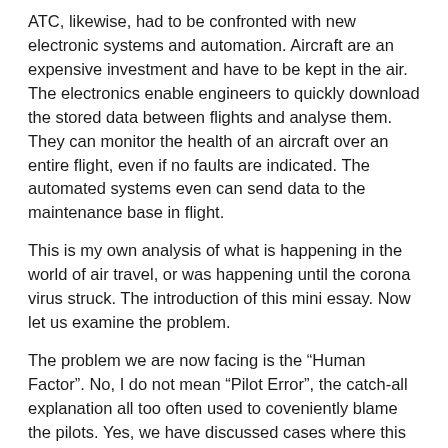ATC, likewise, had to be confronted with new electronic systems and automation. Aircraft are an expensive investment and have to be kept in the air. The electronics enable engineers to quickly download the stored data between flights and analyse them. They can monitor the health of an aircraft over an entire flight, even if no faults are indicated. The automated systems even can send data to the maintenance base in flight.
This is my own analysis of what is happening in the world of air travel, or was happening until the corona virus struck. The introduction of this mini essay. Now let us examine the problem.
The problem we are now facing is the “Human Factor”. No, I do not mean “Pilot Error”, the catch-all explanation all too often used to coveniently blame the pilots. Yes, we have discussed cases where this was the case, but now I digress.
I have been a “stick-and-rudder” pilot for most of my career. Automation was in its infancy when I retired. So yes, I may be a bit biased in favour of the good old days but modern technology need not be the bogey, either.
It all, as I mentioned, comes down to MONEY – human